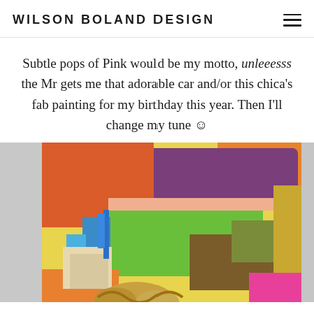WILSON BOLAND DESIGN
Subtle pops of Pink would be my motto, unleeesss the Mr gets me that adorable car and/or this chica’s fab painting for my birthday this year. Then I’ll change my tune ☺
[Figure (photo): A colorful abstract painting with bold patches of purple, orange, red, green, yellow, blue, and brown. A person with wavy hair is partially visible at the bottom of the image.]